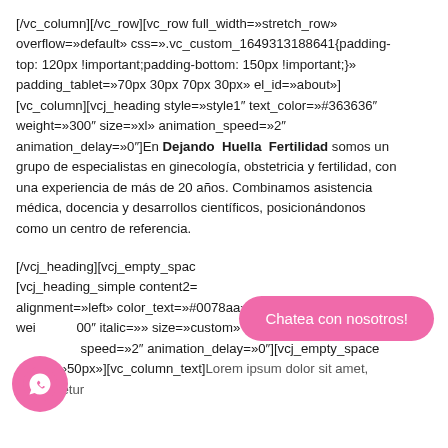[/vc_column][/vc_row][vc_row full_width=»stretch_row» overflow=»default» css=».vc_custom_1649313188641{padding-top: 120px !important;padding-bottom: 150px !important;}» padding_tablet=»70px 30px 70px 30px» el_id=»about»][vc_column][vcj_heading style=»style1″ text_color=»#363636″ weight=»300″ size=»xl» animation_speed=»2″ animation_delay=»0″]En Dejando Huella Fertilidad somos un grupo de especialistas en ginecología, obstetricia y fertilidad, con una experiencia de más de 20 años. Combinamos asistencia médica, docencia y desarrollos científicos, posicionándonos como un centro de referencia.
[/vcj_heading][vcj_empty_space [vcj_heading_simple content2= alignment=»left» color_text=»#0078aa» font=»body» weight=»400″ italic=»» size=»custom» desktop_size=»12px» animation_speed=»2″ animation_delay=»0″][vcj_empty_space height=»50px»][vc_column_text]Lorem ipsum dolor sit amet, consectetur